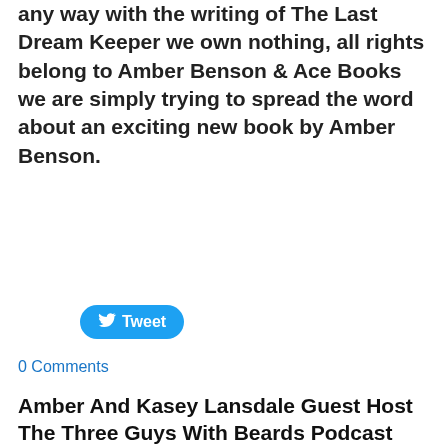any way with the writing of The Last Dream Keeper we own nothing, all rights belong to Amber Benson & Ace Books we are simply trying to spread the word about an exciting new book by Amber Benson.
Tweet
0 Comments
Amber And Kasey Lansdale Guest Host The Three Guys With Beards Podcast
11/1/2015
0 Comments
[Figure (photo): Portrait photo of a woman with dark reddish-brown hair against a stone wall background]